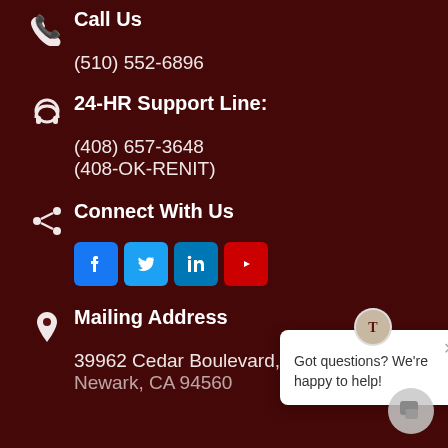Call Us
(510) 552-6896
24-HR Support Line:
(408) 657-3648
(408-OK-RENIT)
Connect With Us
[Figure (infographic): Social media icons: Facebook, Twitter, LinkedIn, YouTube]
Mailing Address
39962 Cedar Boulevard, Ste 121
Newark, CA 94560
[Figure (infographic): Chat popup overlay with logo and text: Got questions? We're happy to help!]